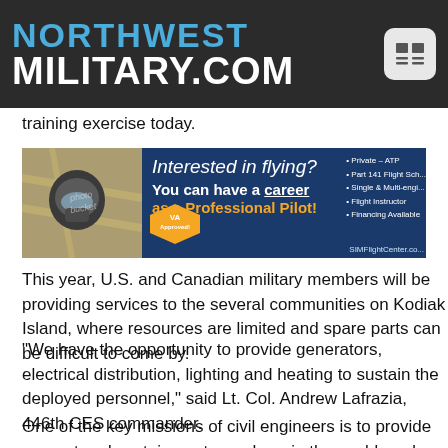NORTHWEST MILITARY.COM
training exercise today.
[Figure (infographic): Advertisement banner for SIMFlightCenter.com showing a pilot in cockpit with text 'Interested in flying? You can have a career as a Professional Pilot!' with VA Approved badge and bullet points listing Private-ATP, Part 141 Flight School, Single & Multi-engine, Flight Instructor, Financing Available.]
This year, U.S. and Canadian military members will be providing services to the several communities on Kodiak Island, where resources are limited and spare parts can be difficult to come by.
"We have the opportunity to provide generators, electrical distribution, lighting and heating to sustain the deployed personnel," said Lt. Col. Andrew Lafrazia, 446th CES commander.
One of the key missions of civil engineers is to provide support and sustainment anywhere in the world, and real-world exercises provide an invaluable training environment.